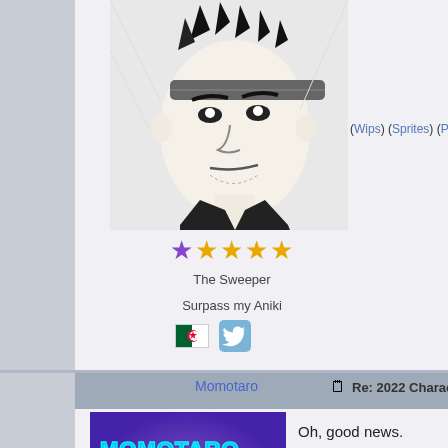[Figure (illustration): Black and white manga-style illustration of a serious male fighter wearing a headband]
★ ★ ★ ★ ★
The Sweeper
Surpass my Aniki
[Figure (illustration): Algeria flag icon and Twitter bird icon]
(Wips) (Sprites) (Palettes)
Momotaro
Re: 2022 Character Upda...
[Figure (illustration): Colorful anime-style avatar image with MOMOTARO text in purple/neon background with female fighter character]
Oh, good news.
And nice to see you ar...